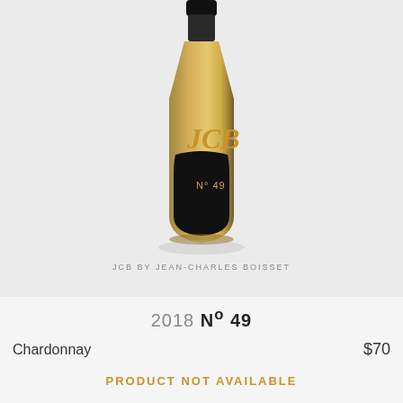[Figure (photo): A wine bottle with black cap, golden-amber glass body, JCB logo in gold lettering, and a dark label reading N° 49. Brand label below reads: JCB BY JEAN-CHARLES BOISSET]
JCB BY JEAN-CHARLES BOISSET
2018 N° 49
Chardonnay
$70
PRODUCT NOT AVAILABLE